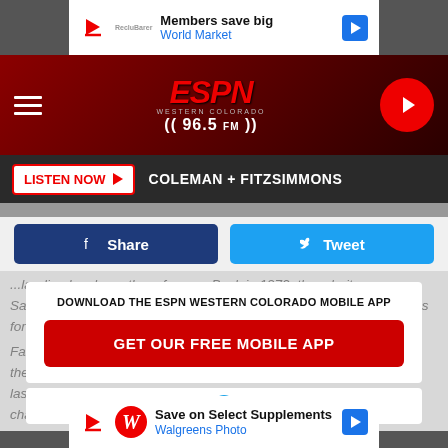[Figure (screenshot): Top advertisement banner: Members save big / World Market with navigation arrow icon]
[Figure (logo): ESPN Western Colorado 96.5 FM header with hamburger menu and play button]
LISTEN NOW  COLEMAN + FITZSIMMONS
[Figure (infographic): Share and Tweet social buttons row]
...landing has been there forever. Back in 1970, though, it was a Sambo's. You and your family would hop in the car and go to Sambo's for breakfast or dinner.
DOWNLOAD THE ESPN WESTERN COLORADO MOBILE APP
GET OUR FREE MOBILE APP
Also listen on:  amazon alexa
[Figure (screenshot): Bottom advertisement banner: Save on Select Supplements / Walgreens Photo with navigation arrow icon]